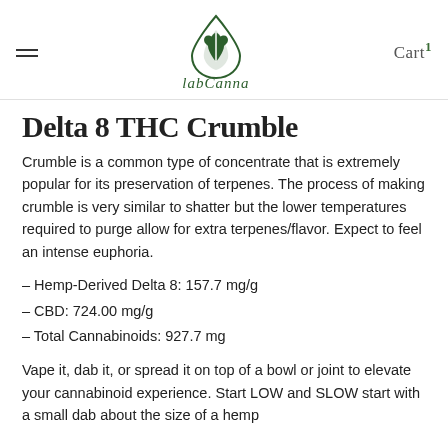labCanna — Cart 1
Delta 8 THC Crumble
Crumble is a common type of concentrate that is extremely popular for its preservation of terpenes. The process of making crumble is very similar to shatter but the lower temperatures required to purge allow for extra terpenes/flavor. Expect to feel an intense euphoria.
– Hemp-Derived Delta 8: 157.7 mg/g
– CBD: 724.00 mg/g
– Total Cannabinoids: 927.7 mg
Vape it, dab it, or spread it on top of a bowl or joint to elevate your cannabinoid experience. Start LOW and SLOW start with a small dab about the size of a hemp